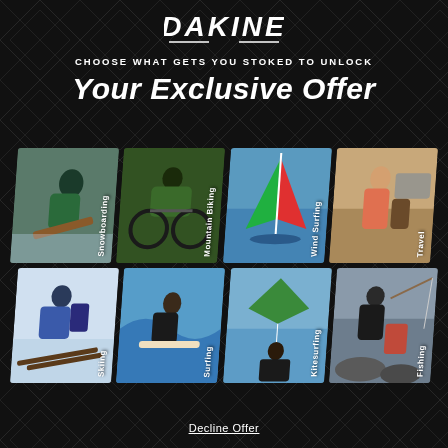[Figure (logo): DAKINE brand logo in white on dark background]
CHOOSE WHAT GETS YOU STOKED TO UNLOCK
Your Exclusive Offer
[Figure (photo): Grid of 8 sport activity photos: Snowboarding, Mountain Biking, Wind Surfing, Travel (top row); Skiing, Surfing, Kitesurfing, Fishing (bottom row). Each card is skewed/tilted with the sport name as a vertical label.]
Decline Offer